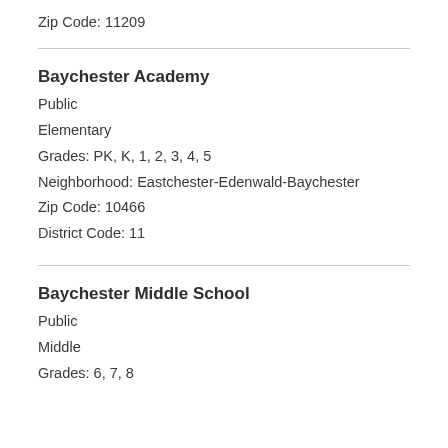Zip Code: 11209
Baychester Academy
Public
Elementary
Grades: PK, K, 1, 2, 3, 4, 5
Neighborhood: Eastchester-Edenwald-Baychester
Zip Code: 10466
District Code: 11
Baychester Middle School
Public
Middle
Grades: 6, 7, 8